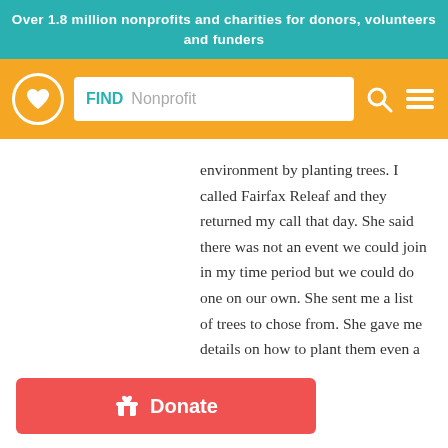Over 1.8 million nonprofits and charities for donors, volunteers and funders
[Figure (screenshot): Navigation bar with logo, search field with FIND Nonprofit placeholder, search icon, and hamburger menu icon on orange background]
environment by planting trees. I called Fairfax Releaf and they returned my call that day. She said there was not an event we could join in my time period but we could do one on our own. She sent me a list of trees to chose from. She gave me details on how to plant them even a color handout. They provided everything, trees, stakes, and tubes to protect from deer and even loaned me some shovels. My girls really enjoyed it and they want to do it again. The neighborhood where we did planting looks great and all the trees are
[Figure (other): Red Donate button with gift/present icon]